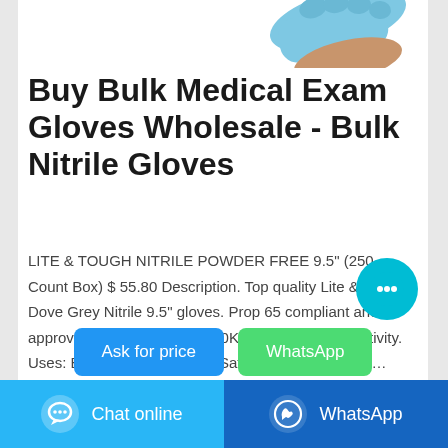[Figure (photo): Partial view of a hand wearing a blue nitrile medical exam glove, cropped at top of card]
Buy Bulk Medical Exam Gloves Wholesale - Bulk Nitrile Gloves
LITE & TOUGH NITRILE POWDER FREE 9.5" (250 Count Box) $ 55.80 Description. Top quality Lite & Tough Dove Grey Nitrile 9.5" gloves. Prop 65 compliant and approved, FDA approved (510K), great tactile sensitivity. Uses: Botanical Processing; Safe glove for medical …